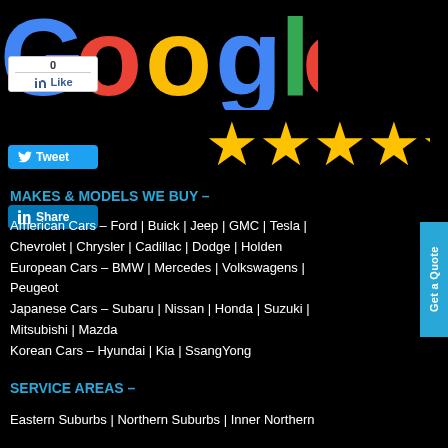[Figure (logo): Google logo in multicolor on black background]
[Figure (other): Five gold stars rating]
[Figure (other): Facebook Like button with count 0]
[Figure (other): Twitter Tweet button]
[Figure (other): LinkedIn Share button]
MAKES & MODELS WE BUY –
American Cars – Ford | Buick | Jeep | GMC | Tesla | Chevrolet | Chrysler | Cadillac | Dodge | Holden European Cars – BMW | Mercedes | Volkswagens | Peugeot Japanese Cars – Subaru | Nissan | Honda | Suzuki | Mitsubishi | Mazda Korean Cars – Hyundai | Kia | SsangYong
SERVICE AREAS –
Eastern Suburbs | Northern Suburbs | Inner Northern